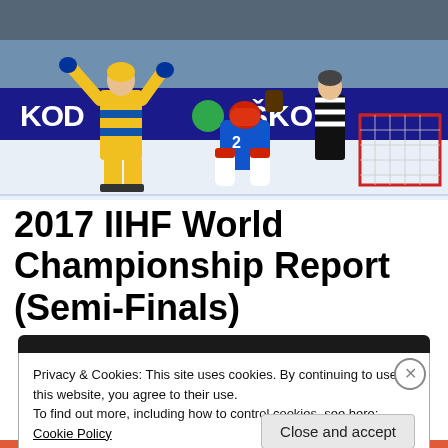[Figure (photo): Ice hockey action photo showing a Swedish player in yellow jersey celebrating or shooting near a Finnish goalie in blue diving to make a save, with a red goal net visible, sponsor boards reading KODA and SKO in background, and a referee in striped shirt visible]
2017 IIHF World Championship Report (Semi-Finals)
Privacy & Cookies: This site uses cookies. By continuing to use this website, you agree to their use.
To find out more, including how to control cookies, see here: Cookie Policy
Close and accept